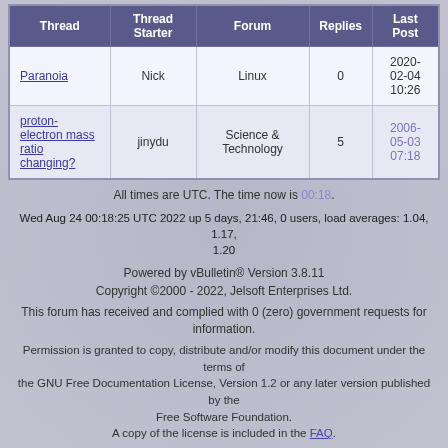| Thread | Thread Starter | Forum | Replies | Last Post |
| --- | --- | --- | --- | --- |
| Paranoia | Nick | Linux | 0 | 2020-02-04 10:26 |
| proton-electron mass ratio changing? | jinydu | Science & Technology | 5 | 2006-05-03 07:18 |
All times are UTC. The time now is 00:18.
Wed Aug 24 00:18:25 UTC 2022 up 5 days, 21:46, 0 users, load averages: 1.04, 1.17, 1.20
Powered by vBulletin® Version 3.8.11
Copyright ©2000 - 2022, Jelsoft Enterprises Ltd.
This forum has received and complied with 0 (zero) government requests for information.
Permission is granted to copy, distribute and/or modify this document under the terms of the GNU Free Documentation License, Version 1.2 or any later version published by the Free Software Foundation.
A copy of the license is included in the FAQ.
≠ ± ∓ ÷ × · − √ ‰ ⊗ ⊕ ⊖ ∅ ⊙ ≤ ≥ ≦ ≧ ≨ ≩ < > ≪ ≫ ⊂ ⊃ ⊆ ⊇ ² ³ °
∠ ∟ º ≡ ~ ∥ ⊥ ⌐
≡ ≜ ≈ α ∞ ≪ ≫ |∥| |• ∏ ∐ ∑ ∧ ∨ ∩ ∪ ⊙ ⊕ ® ⌐⌐⌐ ◄ ►
∅ \ ⊂ ↦ ↣ ∩ ∪ ⊆ ⊂ ∉ ⊆ ⊇ ⊄ ≠ ⊇ ⊖ ∈ ∉∈ ⊃ ∉ ⊇ ℕ ℤ ℚ ℝ ℂ ℵ ⊐ ⌐ ⌐⌐
¬ ∨ ∧ ⊕ → ← ⇒ ⇐ ⇔ ∀ ∃ ∄ ∵ ∴ ⊤ ⊥ ⊢ ⊨ ⊬ ⊣ … ⋯ ⋮ ⋱ ⋰
∫ ∬ ∭ ƒ ∮ ⊞ ∇ Δ δ ∂ ℒ ℓ